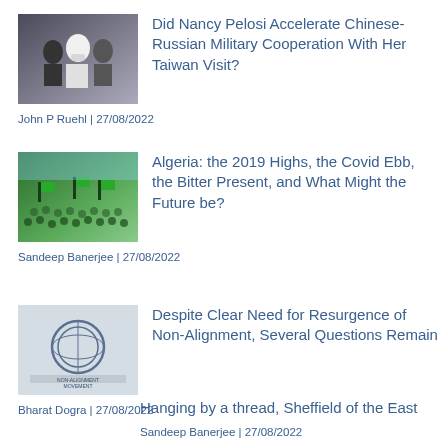[Figure (photo): Photo of Nancy Pelosi with others, people in masks]
Did Nancy Pelosi Accelerate Chinese-Russian Military Cooperation With Her Taiwan Visit?
John P Ruehl | 27/08/2022
[Figure (photo): Photo of large crowd protest with green flags, Algeria]
Algeria: the 2019 Highs, the Covid Ebb, the Bitter Present, and What Might the Future be?
Sandeep Banerjee | 27/08/2022
[Figure (photo): Non-Alignment Movement logo on grey background]
Despite Clear Need for Resurgence of Non-Alignment, Several Questions Remain
Bharat Dogra | 27/08/2022
Hanging by a thread, Sheffield of the East
Sandeep Banerjee | 27/08/2022